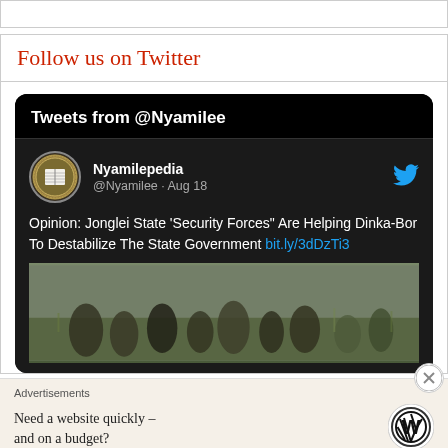Follow us on Twitter
[Figure (screenshot): Twitter/X widget screenshot showing Tweets from @Nyamilee account. Profile: Nyamilepedia @Nyamilee · Aug 18. Tweet text: Opinion: Jonglei State 'Security Forces' Are Helping Dinka-Bor To Destabilize The State Government bit.ly/3dDzTi3. Below tweet is a blurred outdoor photo of a group of people.]
Advertisements
Need a website quickly – and on a budget?